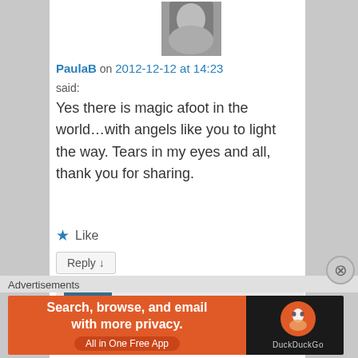[Figure (photo): Black and white avatar photo of PaulaB, a woman]
PaulaB on 2012-12-12 at 14:23
said:
Yes there is magic afoot in the world…with angels like you to light the way. Tears in my eyes and all, thank you for sharing.
★ Like
Reply ↓
[Figure (photo): Color avatar photo of merlinspielen, a person by a lake with mountains]
merlinspielen on 2012-12-12 at 21:42 said:
Advertisements
[Figure (other): DuckDuckGo advertisement banner: Search, browse, and email with more privacy. All in One Free App]